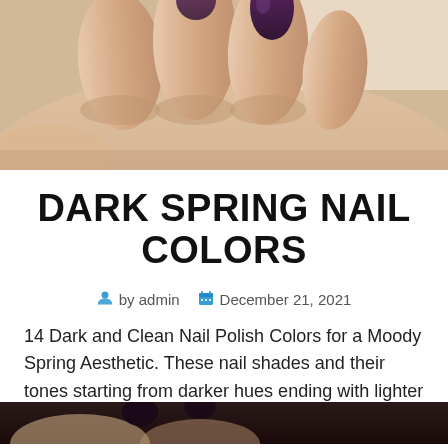[Figure (photo): Close-up photo of a hand with dark purple/plum nail polish against a light background]
DARK SPRING NAIL COLORS
by admin   December 21, 2021
14 Dark and Clean Nail Polish Colors for a Moody Spring Aesthetic. These nail shades and their tones starting from darker hues ending with lighter ones will guarantee beautiful color.
[Figure (photo): Partial bottom photo of dark nail polish on nails]